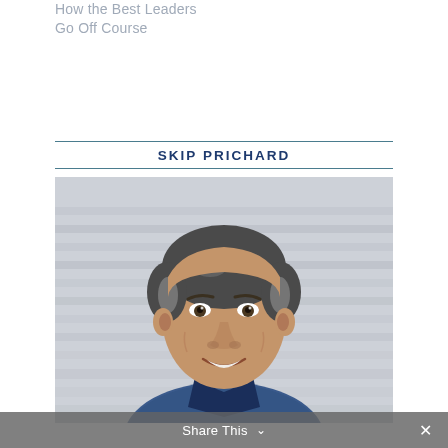How the Best Leaders Go Off Course
SKIP PRICHARD
[Figure (photo): Portrait photo of Skip Prichard, a middle-aged man with salt-and-pepper hair, smiling, wearing a blue gingham/checkered shirt, photographed outdoors in front of a blurred architectural background with steps or bleachers.]
Share This ˅  ✕